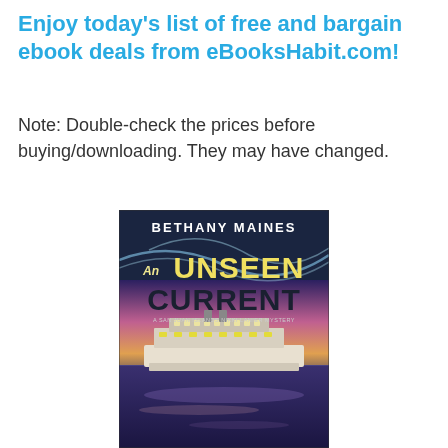Enjoy today's list of free and bargain ebook deals from eBooksHabit.com!
Note: Double-check the prices before buying/downloading. They may have changed.
[Figure (photo): Book cover of 'An Unseen Current' by Bethany Maines. Dark navy background with yellow/cream text for the title. Features a large ferry boat on water at sunset with purple-pink cloudy sky. Subtitle reads 'A San Juan Islands Nikki Lanier Mystery'.]